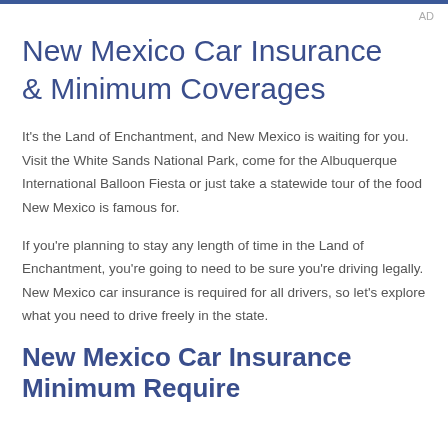AD
New Mexico Car Insurance & Minimum Coverages
It's the Land of Enchantment, and New Mexico is waiting for you. Visit the White Sands National Park, come for the Albuquerque International Balloon Fiesta or just take a statewide tour of the food New Mexico is famous for.
If you're planning to stay any length of time in the Land of Enchantment, you're going to need to be sure you're driving legally. New Mexico car insurance is required for all drivers, so let's explore what you need to drive freely in the state.
New Mexico Car Insurance Minimum Require...